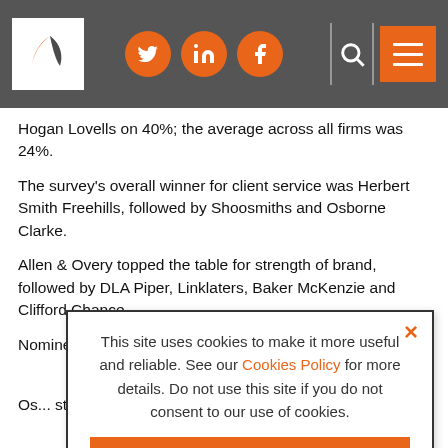Navigation bar with logo, social media icons (Twitter, LinkedIn, Facebook), search icon, and menu button
Hogan Lovells on 40%; the average across all firms was 24%.
The survey's overall winner for client service was Herbert Smith Freehills, followed by Shoosmiths and Osborne Clarke.
Allen & Overy topped the table for strength of brand, followed by DLA Piper, Linklaters, Baker McKenzie and Clifford Chance.
N... th... de...
O... st... fo...
Fi... ex... co...
[Figure (infographic): Cookie consent modal overlay with close button (×), message about cookies, 'I CONSENT' orange button, and 'SEE COOKIE POLICY' outlined orange button]